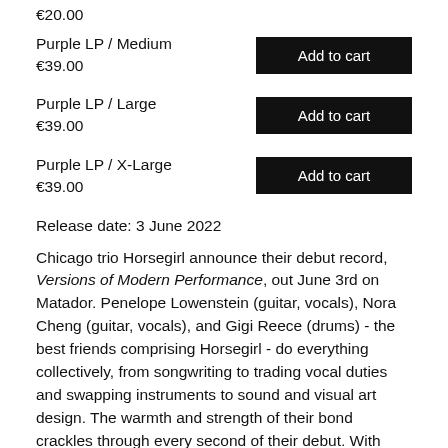€20.00
Purple LP / Medium
€39.00
Purple LP / Large
€39.00
Purple LP / X-Large
€39.00
Release date: 3 June 2022
Chicago trio Horsegirl announce their debut record, Versions of Modern Performance, out June 3rd on Matador. Penelope Lowenstein (guitar, vocals), Nora Cheng (guitar, vocals), and Gigi Reece (drums) - the best friends comprising Horsegirl - do everything collectively, from songwriting to trading vocal duties and swapping instruments to sound and visual art design. The warmth and strength of their bond crackles through every second of their debut. With lyrics